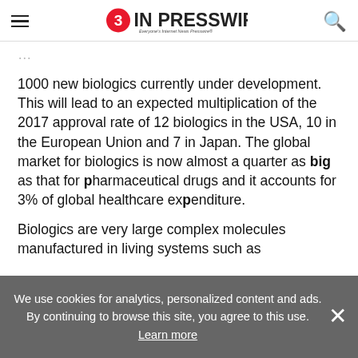EIN PRESSWIRE — Everyone's Internet News Presswire
1000 new biologics currently under development. This will lead to an expected multiplication of the 2017 approval rate of 12 biologics in the USA, 10 in the European Union and 7 in Japan. The global market for biologics is now almost a quarter as big as that for pharmaceutical drugs and it accounts for 3% of global healthcare expenditure.
Biologics are very large complex molecules manufactured in living systems such as
We use cookies for analytics, personalized content and ads. By continuing to browse this site, you agree to this use. Learn more